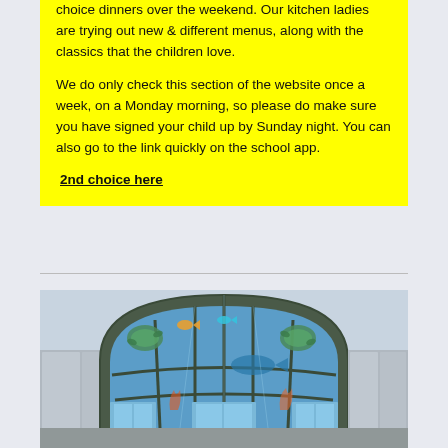choice dinners over the weekend.  Our kitchen ladies are trying out new & different menus, along with the classics that the children love.
We do only check this section of the website once a week, on a Monday morning, so please do make sure you have signed your child up by Sunday night.  You can also go to the link quickly on the school app.
2nd choice here
[Figure (photo): Photograph of a school building with an arched glass facade decorated with ocean/underwater murals featuring sea turtles, fish, and marine life in blue and green tones.]